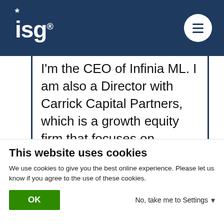ISG
I'm the CEO of Infinia ML. I am also a Director with Carrick Capital Partners, which is a growth equity firm that focuses on software and software enabled businesses and is the majority owner of Infinia ML. In terms of my background, most of my background is on the investing side. So, the bulk of my career has been around evaluating companies, technologies, products management
This website uses cookies
We use cookies to give you the best online experience. Please let us know if you agree to the use of these cookies.
OK   No, take me to Settings